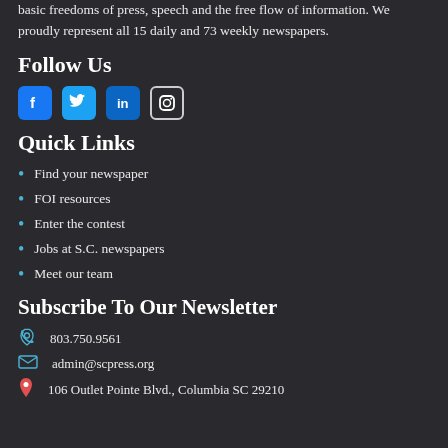basic freedoms of press, speech and the free flow of information. We proudly represent all 15 daily and 73 weekly newspapers.
Follow Us
[Figure (infographic): Social media icons: Facebook (blue square), Twitter (blue bird), LinkedIn (blue square), Instagram (outlined square)]
Quick Links
Find your newspaper
FOI resources
Enter the contest
Jobs at S.C. newspapers
Meet our team
Subscribe To Our Newsletter
803.750.9561
admin@scpress.org
106 Outlet Pointe Blvd., Columbia SC 29210